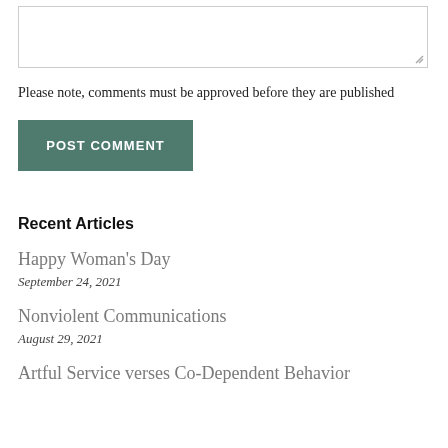Please note, comments must be approved before they are published
POST COMMENT
Recent Articles
Happy Woman's Day
September 24, 2021
Nonviolent Communications
August 29, 2021
Artful Service verses Co-Dependent Behavior